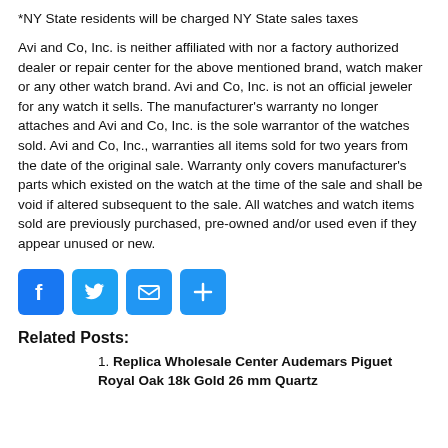*NY State residents will be charged NY State sales taxes
Avi and Co, Inc. is neither affiliated with nor a factory authorized dealer or repair center for the above mentioned brand, watch maker or any other watch brand. Avi and Co, Inc. is not an official jeweler for any watch it sells. The manufacturer's warranty no longer attaches and Avi and Co, Inc. is the sole warrantor of the watches sold. Avi and Co, Inc., warranties all items sold for two years from the date of the original sale. Warranty only covers manufacturer's parts which existed on the watch at the time of the sale and shall be void if altered subsequent to the sale. All watches and watch items sold are previously purchased, pre-owned and/or used even if they appear unused or new.
[Figure (infographic): Social media sharing icons: Facebook (blue), Twitter (blue), Email (blue envelope), Share (blue plus)]
Related Posts:
Replica Wholesale Center Audemars Piguet Royal Oak 18k Gold 26 mm Quartz